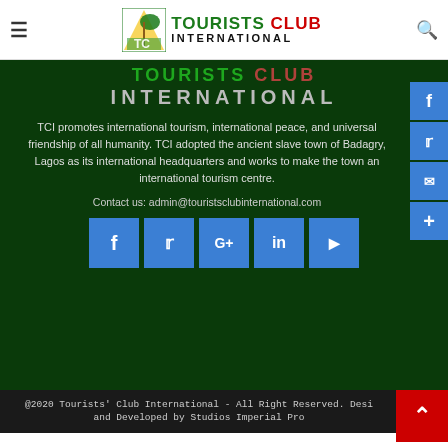TOURISTS CLUB INTERNATIONAL
[Figure (logo): Tourists Club International logo with palm tree icon and text]
TOURISTS CLUB INTERNATIONAL (banner)
TCI promotes international tourism, international peace, and universal friendship of all humanity. TCI adopted the ancient slave town of Badagry, Lagos as its international headquarters and works to make the town an international tourism centre.
Contact us: admin@touristsclubinternational.com
[Figure (infographic): Social media buttons row: Facebook, Twitter, Google+, LinkedIn, YouTube]
[Figure (infographic): Side social buttons: Facebook, Twitter, Email, Share/Plus]
@2020 Tourists' Club International - All Right Reserved. Desi and Developed by Studios Imperial Pro